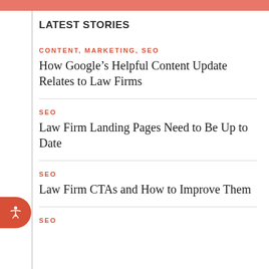LATEST STORIES
CONTENT, MARKETING, SEO
How Google's Helpful Content Update Relates to Law Firms
SEO
Law Firm Landing Pages Need to Be Up to Date
SEO
Law Firm CTAs and How to Improve Them
SEO